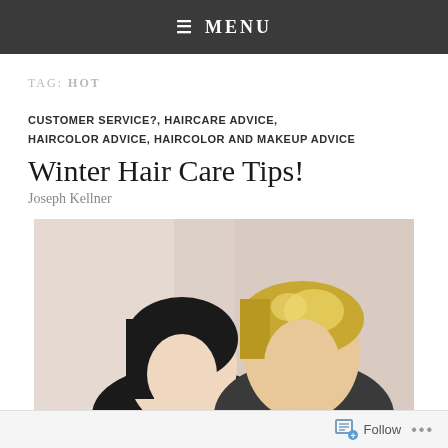≡ MENU
TAG: HOT
CUSTOMER SERVICE?, HAIRCARE ADVICE, HAIRCOLOR ADVICE, HAIRCOLOR AND MAKEUP ADVICE
Winter Hair Care Tips!
Joseph Kellner
[Figure (photo): Two women posing together, one with dark hair and one with blonde highlighted hair, against a light fabric background]
Follow ...